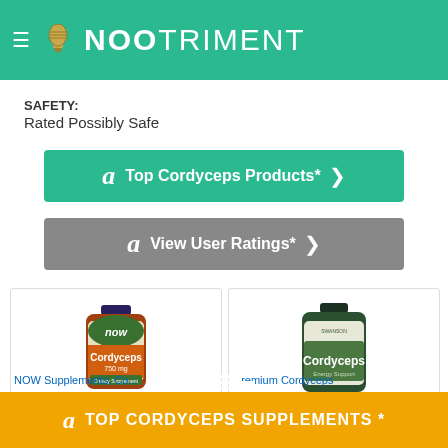NOOTRIMENT
SAFETY: Rated Possibly Safe
[Figure (screenshot): Green Amazon button: Top Cordyceps Products* with chevron]
[Figure (screenshot): Gray Amazon button: View User Ratings* with chevron]
[Figure (photo): NOW Supplements Cordyceps bottle]
[Figure (photo): Swanson Premium Cordyceps bottle]
NOW Supplements, Co...
...remium Cordyceps
TOP CORDYCEPS SUPPLEMENTS *